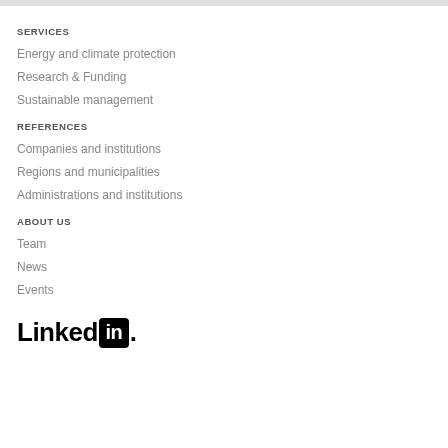SERVICES
Energy and climate protection
Research & Funding
Sustainable management
REFERENCES
Companies and institutions
Regions and municipalities
Administrations and institutions
ABOUT US
Team
News
Events
[Figure (logo): LinkedIn logo with black text 'Linked' followed by 'in' in white on black rounded rectangle, followed by a period]